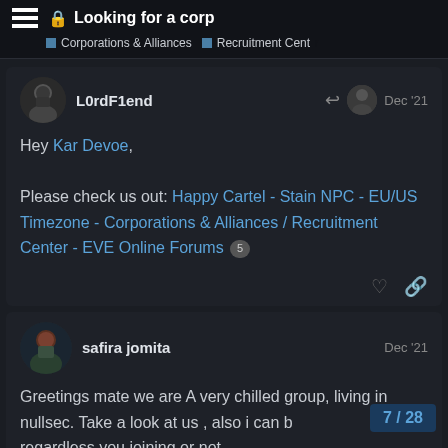Looking for a corp
Corporations & Alliances  Recruitment Center
L0rdF1end  Dec '21
Hey Kar Devoe,

Please check out: Happy Cartel - Stain NPC - EU/US Timezone - Corporations & Alliances / Recruitment Center - EVE Online Forums 5
safira jomita  Dec '21
Greetings mate we are A very chilled group, living in nullsec. Take a look at us , also i can b regardless you joining or not
7 / 28